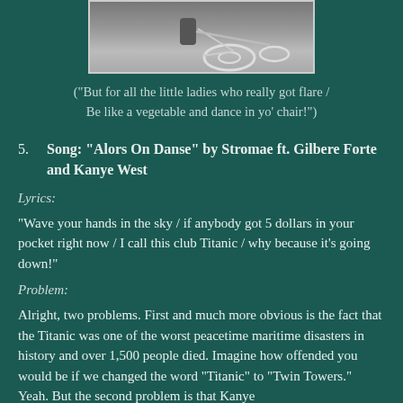[Figure (photo): Partial image of a wheelchair at the top of the page]
("But for all the little ladies who really got flare / Be like a vegetable and dance in yo' chair!")
5. Song: “Alors On Danse” by Stromae ft. Gilbere Forte and Kanye West
Lyrics:
“Wave your hands in the sky / if anybody got 5 dollars in your pocket right now / I call this club Titanic / why because it’s going down!”
Problem:
Alright, two problems. First and much more obvious is the fact that the Titanic was one of the worst peacetime maritime disasters in history and over 1,500 people died. Imagine how offended you would be if we changed the word “Titanic” to “Twin Towers.” Yeah. But the second problem is that Kanye